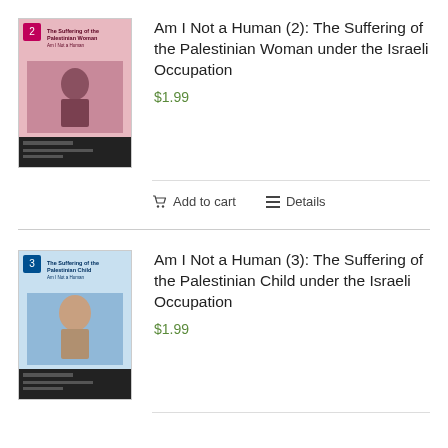[Figure (illustration): Book cover for 'Am I Not a Human (2): The Suffering of the Palestinian Woman under the Israeli Occupation' — pink/red tones with a photo of a woman]
Am I Not a Human (2): The Suffering of the Palestinian Woman under the Israeli Occupation
$1.99
Add to cart   Details
[Figure (illustration): Book cover for 'Am I Not a Human (3): The Suffering of the Palestinian Child under the Israeli Occupation' — blue tones with a photo of a child]
Am I Not a Human (3): The Suffering of the Palestinian Child under the Israeli Occupation
$1.99